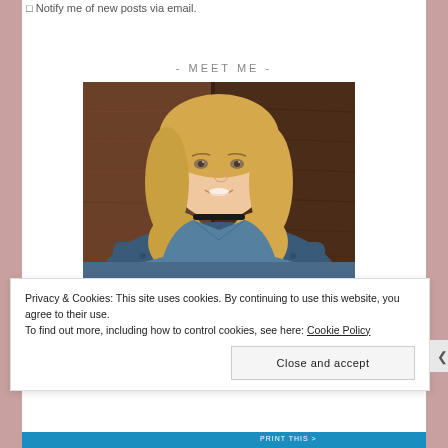Notify me of new posts via email.
- MEET ME -
[Figure (photo): Portrait photo of a blonde woman smiling, seated in a blue tufted chair with a dark wood panel background, wearing a denim top and black choker necklace.]
Privacy & Cookies: This site uses cookies. By continuing to use this website, you agree to their use. To find out more, including how to control cookies, see here: Cookie Policy
Close and accept